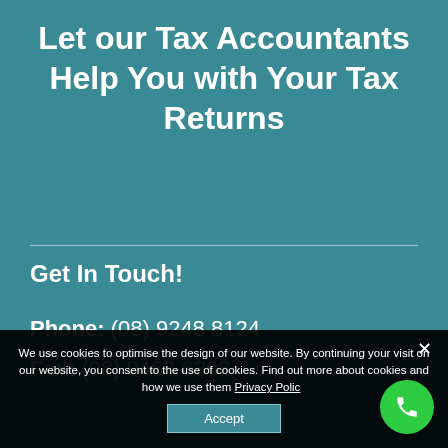Let our Tax Accountants Help You with Your Tax Returns
Get In Touch!
Phone: (08) 9248 8124
Fax: (08) 9463 6208
We use cookies to optimise the design of our website. By continuing your visit on our website, you consent to the use of cookies. Find out more about cookies and how we use them Privacy Policy
Accept